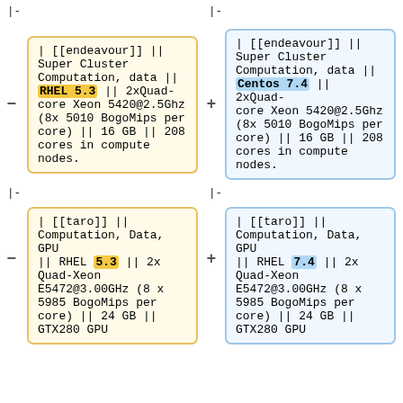|-
|-
| [[endeavour]] || Super Cluster Computation, data || RHEL 5.3 || 2xQuad-core Xeon 5420@2.5Ghz (8x 5010 BogoMips per core) || 16 GB || 208 cores in compute nodes.
| [[endeavour]] || Super Cluster Computation, data || Centos 7.4 || 2xQuad-core Xeon 5420@2.5Ghz (8x 5010 BogoMips per core) || 16 GB || 208 cores in compute nodes.
|-
|-
| [[taro]] || Computation, Data, GPU || RHEL 5.3 || 2x Quad-Xeon E5472@3.00GHz (8 x 5985 BogoMips per core) || 24 GB || GTX280 GPU
| [[taro]] || Computation, Data, GPU || RHEL 7.4 || 2x Quad-Xeon E5472@3.00GHz (8 x 5985 BogoMips per core) || 24 GB || GTX280 GPU